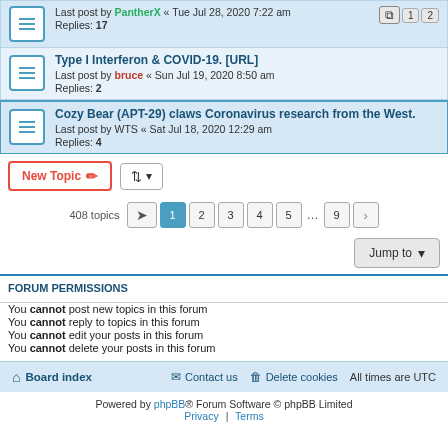Last post by PantherX « Tue Jul 28, 2020 7:22 am
Replies: 17
Type I Interferon & COVID-19. [URL]
Last post by bruce « Sun Jul 19, 2020 8:50 am
Replies: 2
Cozy Bear (APT-29) claws Coronavirus research from the West.
Last post by WTS « Sat Jul 18, 2020 12:29 am
Replies: 4
New Topic   |   Sort   408 topics   1 2 3 4 5 ... 9 >
Jump to
FORUM PERMISSIONS
You cannot post new topics in this forum
You cannot reply to topics in this forum
You cannot edit your posts in this forum
You cannot delete your posts in this forum
Board index   Contact us   Delete cookies   All times are UTC
Powered by phpBB® Forum Software © phpBB Limited
Privacy | Terms